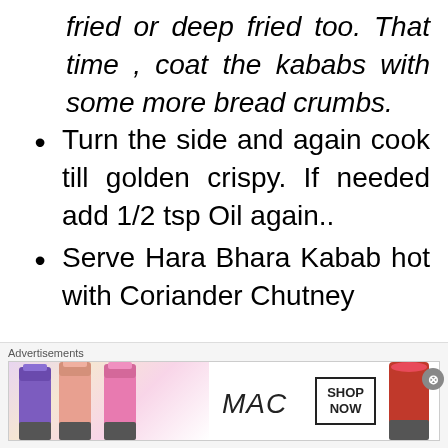fried or deep fried too. That time , coat the kababs with some more bread crumbs.
Turn the side and again cook till golden crispy. If needed add 1/2 tsp Oil again..
Serve Hara Bhara Kabab hot with Coriander Chutney
Advertisements
[Figure (advertisement): MAC cosmetics advertisement showing lipsticks with SHOP NOW button]